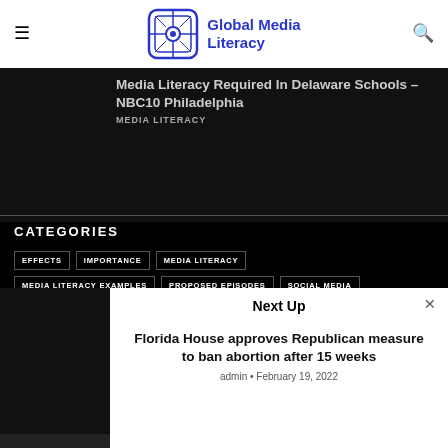Global Media Literacy
Media Literacy Required In Delaware Schools – NBC10 Philadelphia
MEDIA LITERACY
CATEGORIES
EFFECTS
IMPORTANCE
MEDIA LITERACY
MEDIA LITERACY EXAMPLES
PROPOSED EPISODES
SOCIAL MEDIA
TOP C…
Next Up
Florida House approves Republican measure to ban abortion after 15 weeks
admin • February 19, 2022